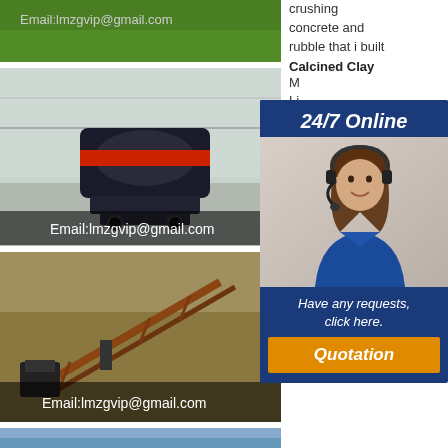[Figure (photo): Top green background image with email text visible: Email:lmzgvip@gmail.com]
[Figure (photo): Industrial crusher/VSI machine in a modern building, with overlay text Email:lmzgvip@gmail.com]
[Figure (photo): Aerial view of conveyor belt and crushing equipment at mine site, with overlay text Email:lmzgvip@gmail.com]
[Figure (photo): Partial sky/landscape image at bottom]
crushing concrete and rubble that i built
Calcined Clay M Li Cr Cr Ca M Ch Cr Li cr Sm
[Figure (infographic): 24/7 Online popup with customer service representative photo, 'Have any requests, click here.' text, and Quotation button]
Antique Engine Community
Dec 04, 2020· Hi, here are the photos of my little crusher.
Crushers For